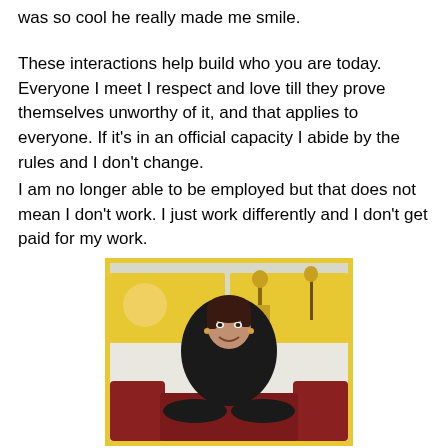was so cool he really made me smile.
These interactions help build who you are today. Everyone I meet I respect and love till they prove themselves unworthy of it, and that applies to everyone. If it's in an official capacity I abide by the rules and I don't change.
I am no longer able to be employed but that does not mean I don't work. I just work differently and I don't get paid for my work.
[Figure (photo): A woman with dark hair pulled back, wearing a black outfit, sitting and smiling at the camera. Behind her are yellow poster boards with illustrations. She is seated in front of red chairs in what appears to be a classroom or community room setting.]